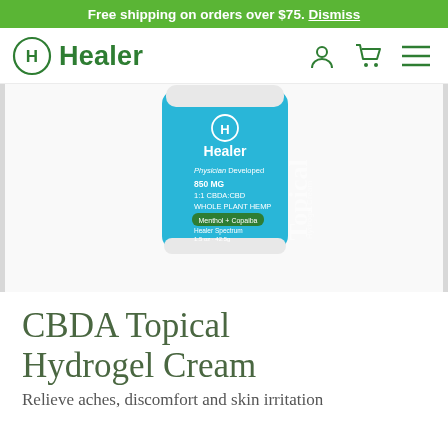Free shipping on orders over $75. Dismiss
[Figure (logo): Healer brand logo with H in circle and navigation icons]
[Figure (photo): Healer CBDA Topical Hydrogel Cream product jar with blue label showing Physician Developed, 850 MG, 1:1 CBDA:CBD, Whole Plant Hemp, Menthol + Copaiba, Healer Spectrum, 1.5 oz 42.5g]
CBDA Topical Hydrogel Cream
Relieve aches, discomfort and skin irritation